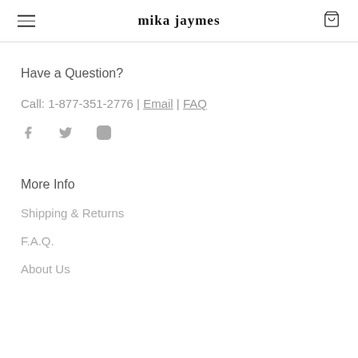mika jaymes
Have a Question?
Call: 1-877-351-2776 | Email | FAQ
[Figure (illustration): Social media icons: Facebook, Twitter, Instagram]
More Info
Shipping & Returns
F.A.Q.
About Us